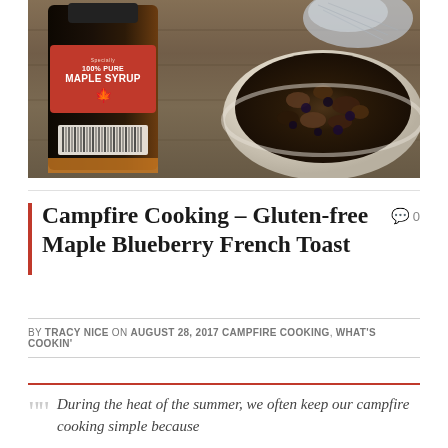[Figure (photo): Photo of a maple syrup bottle (100% Pure Maple Syrup) on a wooden surface next to a white bowl filled with what appears to be blueberry French toast pieces]
Campfire Cooking – Gluten-free Maple Blueberry French Toast
BY TRACY NICE ON AUGUST 28, 2017 CAMPFIRE COOKING, WHAT'S COOKIN'
During the heat of the summer, we often keep our campfire cooking simple because